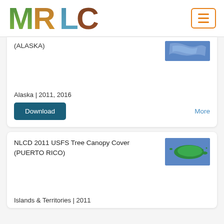[Figure (logo): MRLC logo with nature-themed letters]
(ALASKA)
[Figure (map): Thumbnail map of Alaska]
Alaska | 2011, 2016
Download
More
NLCD 2011 USFS Tree Canopy Cover (PUERTO RICO)
[Figure (map): Thumbnail map of Puerto Rico showing green tree canopy cover]
Islands & Territories | 2011